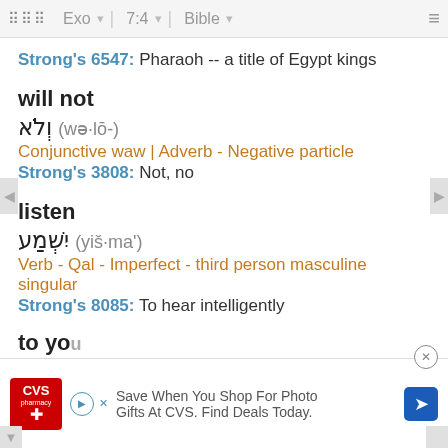⠿⠿⠿  Exo  ▾   7:4  ▾   Bible  ▾   ≡
Strong's 6547: Pharaoh -- a title of Egypt kings
will not
וְלֹא (wə·lō-)
Conjunctive waw | Adverb - Negative particle
Strong's 3808: Not, no
listen
יִשְׁמַע (yiš·ma')
Verb - Qal - Imperfect - third person masculine singular
Strong's 8085: To hear intelligently
to you
[Figure (screenshot): CVS Pharmacy advertisement overlay: Save When You Shop For Photo Gifts At CVS. Find Deals Today.]